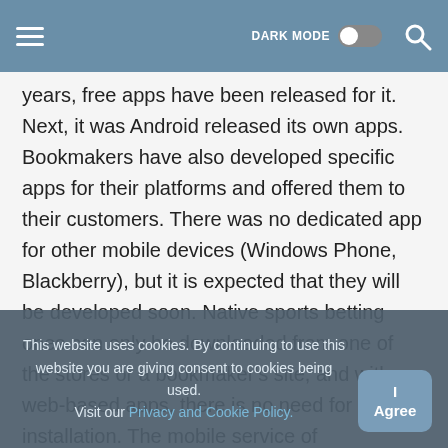DARK MODE [toggle] [search]
years, free apps have been released for it. Next, it was Android released its own apps.
Bookmakers have also developed specific apps for their platforms and offered them to their customers. There was no dedicated app for other mobile devices (Windows Phone, Blackberry), but it is expected that they will be developed soon. Native sports betting ones can only be downloaded from one of the stores or a bookmaker's site, and with web-based apps, there is no need for installation. The mobile service of bookmakers with a web-based one, on the other hand, can be opened quite conveniently in any cell phone or tablet with the browser.
This website uses cookies. By continuing to use this website you are giving consent to cookies being used. Visit our Privacy and Cookie Policy.